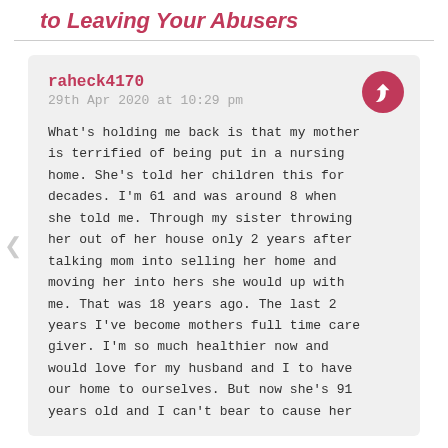to Leaving Your Abusers
raheck4170
29th Apr 2020 at 10:29 pm

What's holding me back is that my mother is terrified of being put in a nursing home. She's told her children this for decades. I'm 61 and was around 8 when she told me. Through my sister throwing her out of her house only 2 years after talking mom into selling her home and moving her into hers she would up with me. That was 18 years ago. The last 2 years I've become mothers full time care giver. I'm so much healthier now and would love for my husband and I to have our home to ourselves. But now she's 91 years old and I can't bear to cause her